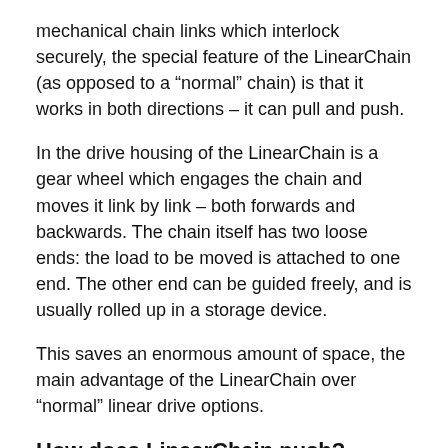mechanical chain links which interlock securely, the special feature of the LinearChain (as opposed to a “normal” chain) is that it works in both directions – it can pull and push.
In the drive housing of the LinearChain is a gear wheel which engages the chain and moves it link by link – both forwards and backwards. The chain itself has two loose ends: the load to be moved is attached to one end. The other end can be guided freely, and is usually rolled up in a storage device.
This saves an enormous amount of space, the main advantage of the LinearChain over “normal” linear drive options.
How does LinearChain push?